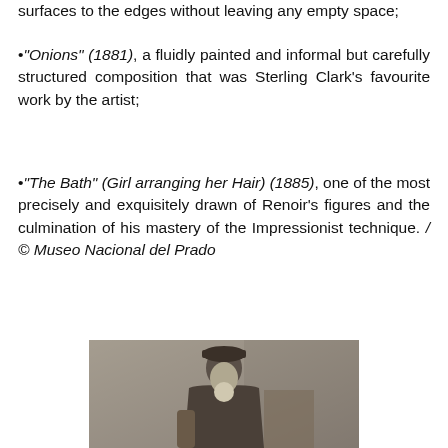surfaces to the edges without leaving any empty space;
"Onions" (1881), a fluidly painted and informal but carefully structured composition that was Sterling Clark's favourite work by the artist;
"The Bath" (Girl arranging her Hair) (1885), one of the most precisely and exquisitely drawn of Renoir's figures and the culmination of his mastery of the Impressionist technique. / © Museo Nacional del Prado
[Figure (photo): Black and white photograph of an elderly bearded man wearing a flat cap and heavy coat, seated in a chair, believed to be Pierre-Auguste Renoir.]